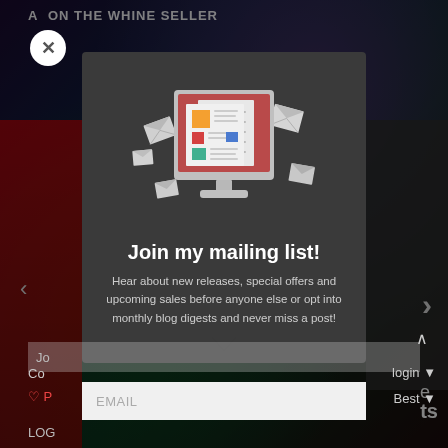[Figure (screenshot): Website popup modal screenshot with dark background showing 'ON THE WHINE SELLER' header text, close button (X), newsletter signup modal with illustration of a computer monitor showing newspaper/newsletters with flying envelope icons, title 'Join my mailing list!', descriptive text, and an EMAIL input field at the bottom.]
Join my mailing list!
Hear about new releases, special offers and upcoming sales before anyone else or opt into monthly blog digests and never miss a post!